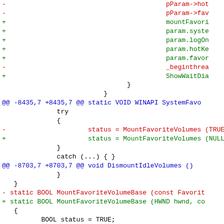diff hunk showing changes to MountFavoriteVolumeBase and related functions
[Figure (screenshot): Code diff showing changes including pParam->fav, mountFavori, param.syste, param.logOn, param.hotKe, param.favor, _beginthrea, ShowWaitDia, closing braces, @@ -8435,7 +8435,7 @@ static VOID WINAPI SystemFavo, try block with MountFavoriteVolumes TRUE vs NULL, @@ -8703,7 +8703,7 @@ void DismountIdleVolumes(), -static and +static BOOL MountFavoriteVolumeBase signatures, BOOL status = TRUE, int drive]